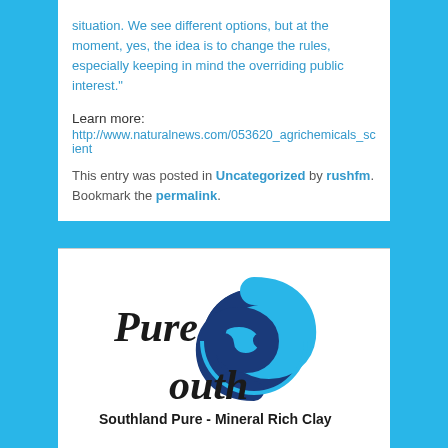situation. We see different options, but at the moment, yes, the idea is to change the rules, especially keeping in mind the overriding public interest.”
Learn more:
http://www.naturalnews.com/053620_agrichemicals_scient
This entry was posted in Uncategorized by rushfm. Bookmark the permalink.
[Figure (logo): Pure South logo with a blue yin-yang style S symbol and text 'Pure South' with tagline 'Southland Pure - Mineral Rich Clay']